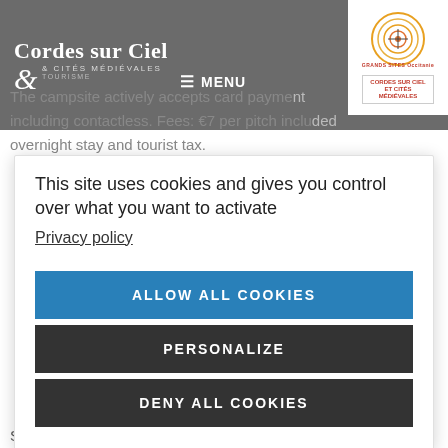Cordes sur Ciel & Cités Médiévales Tourisme — MENU
The campsite actively accepts card payment including contactless. Fees: €7 per pitch included overnight stay and tourist tax.
This site uses cookies and gives you control over what you want to activate
Privacy policy
ALLOW ALL COOKIES
PERSONALIZE
DENY ALL COOKIES
Shaded pitches less than a 150-metre walk from